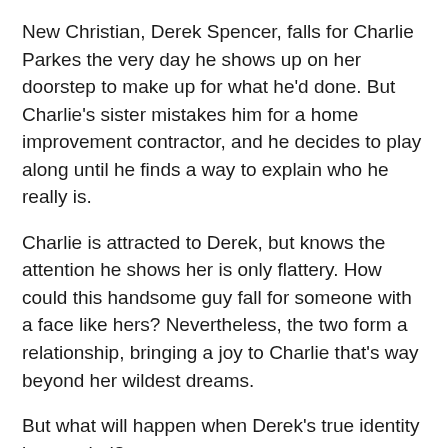New Christian, Derek Spencer, falls for Charlie Parkes the very day he shows up on her doorstep to make up for what he'd done. But Charlie's sister mistakes him for a home improvement contractor, and he decides to play along until he finds a way to explain who he really is.
Charlie is attracted to Derek, but knows the attention he shows her is only flattery. How could this handsome guy fall for someone with a face like hers? Nevertheless, the two form a relationship, bringing a joy to Charlie that's way beyond her wildest dreams.
But what will happen when Derek's true identity is revealed?
From Prism Book Group on sale for 99cents until June 15
BUY LINKS